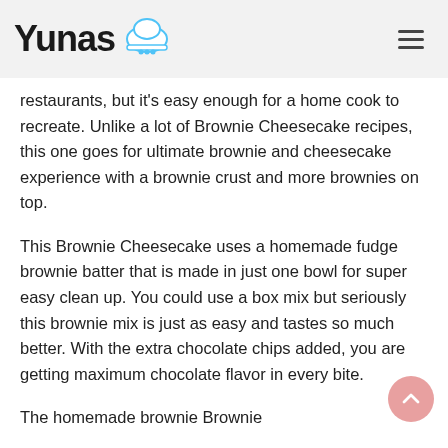Yunas [chef hat icon]
restaurants, but it's easy enough for a home cook to recreate. Unlike a lot of Brownie Cheesecake recipes, this one goes for ultimate brownie and cheesecake experience with a brownie crust and more brownies on top.
This Brownie Cheesecake uses a homemade fudge brownie batter that is made in just one bowl for super easy clean up. You could use a box mix but seriously this brownie mix is just as easy and tastes so much better. With the extra chocolate chips added, you are getting maximum chocolate flavor in every bite.
The homemade brownie Brownie...